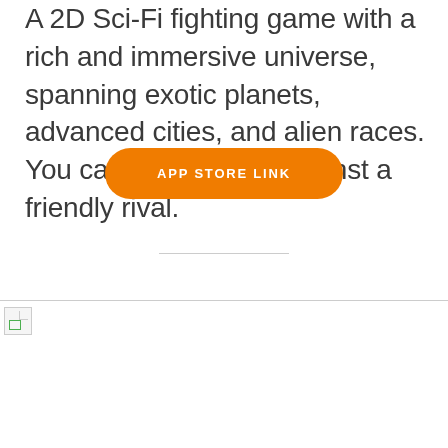A 2D Sci-Fi fighting game with a rich and immersive universe, spanning exotic planets, advanced cities, and alien races. You can play solo or against a friendly rival.
APP STORE LINK
[Figure (photo): Broken image placeholder at bottom of page]